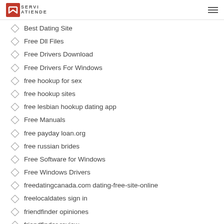SERVI ATIENDE
Best Dating Site
Free Dll Files
Free Drivers Download
Free Drivers For Windows
free hookup for sex
free hookup sites
free lesbian hookup dating app
Free Manuals
free payday loan.org
free russian brides
Free Software for Windows
Free Windows Drivers
freedatingcanada.com dating-free-site-online
freelocaldates sign in
friendfinder opiniones
friendfinder review
friendfinder username